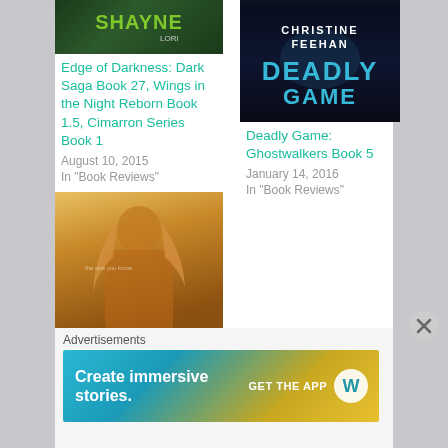[Figure (photo): Book cover for Lori Shayne title - dark green background with author name SHAYNE in green letters and LORI below]
Edge of Darkness: Dark Saga Book 27, Wings in the Night Reborn Book 1.5, Cimarron Series Book 1
August 10, 2015
In "Book Reviews"
[Figure (photo): Book cover for Christine Feehan Deadly Game - dark background with CHRISTINE FEEHAN in white and DEADLY in teal letters]
Deadly Game: Ghostwalkers Book 5
January 14, 2016
In "Book Reviews"
[Figure (photo): Book cover for Hope(less) - warm golden/orange tones showing a woman with long hair covering her face]
Hope(less): Judgement of the Six Book 1
September 14, 2015
In "Book Reviews"
Advertisements
[Figure (screenshot): WordPress advertisement banner: Create immersive stories. GET THE APP with WordPress logo]